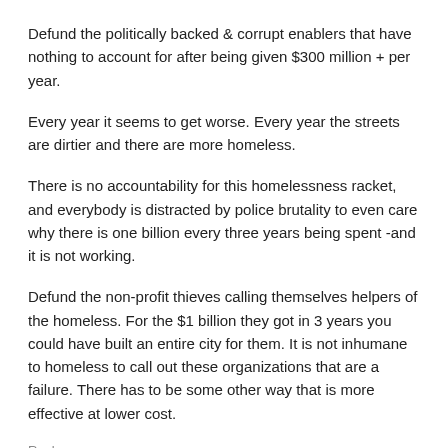Defund the politically backed & corrupt enablers that have nothing to account for after being given $300 million + per year.
Every year it seems to get worse. Every year the streets are dirtier and there are more homeless.
There is no accountability for this homelessness racket, and everybody is distracted by police brutality to even care why there is one billion every three years being spent -and it is not working.
Defund the non-profit thieves calling themselves helpers of the homeless. For the $1 billion they got in 3 years you could have built an entire city for them. It is not inhumane to homeless to call out these organizations that are a failure. There has to be some other way that is more effective at lower cost.
Reply